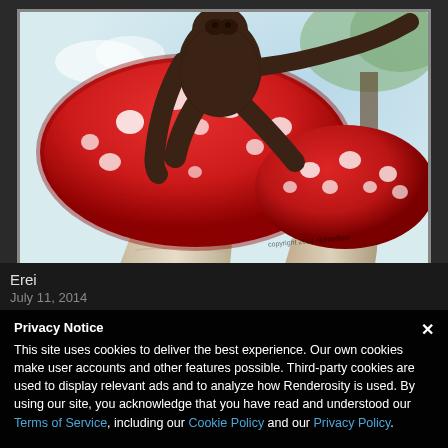[Figure (illustration): Digital artwork showing a dark creature (ape/alien figure) perched on top of large red spotted mushrooms (Amanita muscaria style), with a light blue/white background sky. Copyright watermark visible in lower right.]
Erei
July 11, 2014
Privacy Notice
This site uses cookies to deliver the best experience. Our own cookies make user accounts and other features possible. Third-party cookies are used to display relevant ads and to analyze how Renderosity is used. By using our site, you acknowledge that you have read and understood our Terms of Service, including our Cookie Policy and our Privacy Policy.